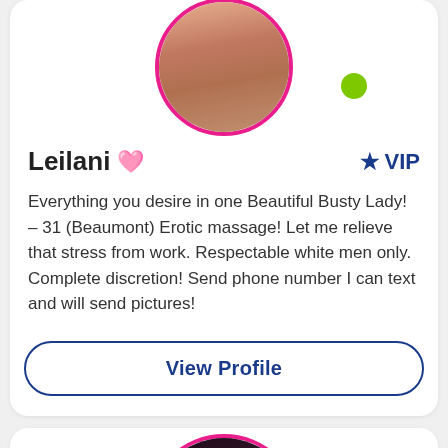[Figure (photo): Circular profile photo of Leilani with pink border, partial view cropped at top, with green online indicator dot]
Leilani ♥
★ VIP
Everything you desire in one Beautiful Busty Lady! – 31 (Beaumont) Erotic massage! Let me relieve that stress from work. Respectable white men only. Complete discretion! Send phone number I can text and will send pictures!
View Profile
[Figure (photo): Circular profile photo of a dark-haired woman with pink border, partially cropped at bottom]